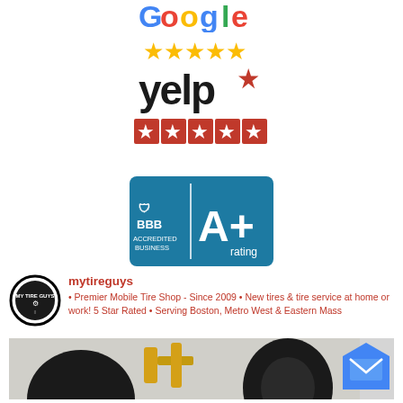[Figure (logo): Google logo with five gold stars rating]
[Figure (logo): Yelp logo with five red star rating badges]
[Figure (logo): BBB Accredited Business A+ rating badge]
[Figure (logo): mytireguys circular logo]
mytireguys • Premier Mobile Tire Shop - Since 2009 • New tires & tire service at home or work! 5 Star Rated • Serving Boston, Metro West & Eastern Mass
[Figure (photo): Photo of tire service equipment and tires]